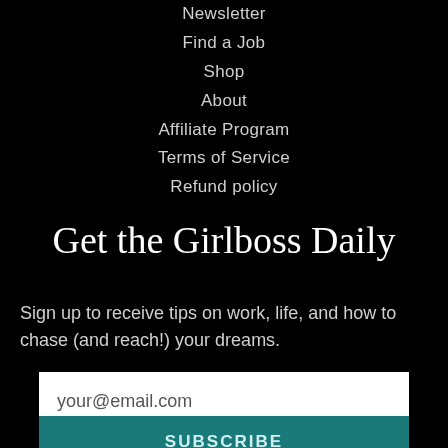Newsletter
Find a Job
Shop
About
Affiliate Program
Terms of Service
Refund policy
Get the Girlboss Daily
Sign up to receive tips on work, life, and how to chase (and reach!) your dreams.
your@email.com
SUBSCRIBE